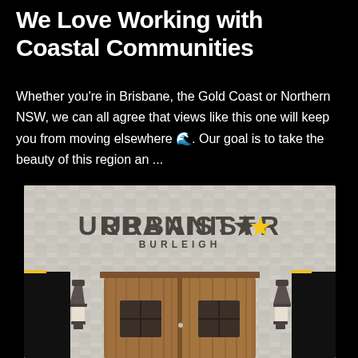We Love Working with Coastal Communities
Whether you're in Brisbane, the Gold Coast or Northern NSW, we can all agree that views like this one will keep you from moving elsewhere 🌊. Our goal is to take the beauty of this region an ...
[Figure (photo): Photo of the Urbanistar Burleigh storefront exterior, showing a herringbone white tile wall with the URBANISTAR BURLEIGH sign (star replacing the A in star), large wooden double doors with small window panels, and two black wall lanterns on either side.]